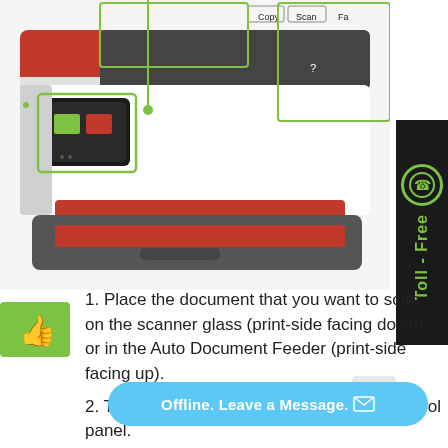[Figure (photo): HP OfficeJet Pro printer with red accents, shown from the front, with green annotation lines pointing to the control panel and display screen. The printer screen shows Copy, Scan, and Fax buttons. Green rectangles highlight the screen area and a help button.]
[Figure (infographic): Toll-Free sidebar on the right with a phone icon in a circle and vertical text reading 'Toll - Free' in green on a dark background.]
1. Place the document that you want to scan on the scanner glass (print-side facing down) or in the Auto Document Feeder (print-side facing up).
2. Tap on the Scan button on the printer control panel.
3. Select the computer
[Figure (infographic): Blue rounded pill button reading 'Offline. Leave a Message.' with an envelope icon.]